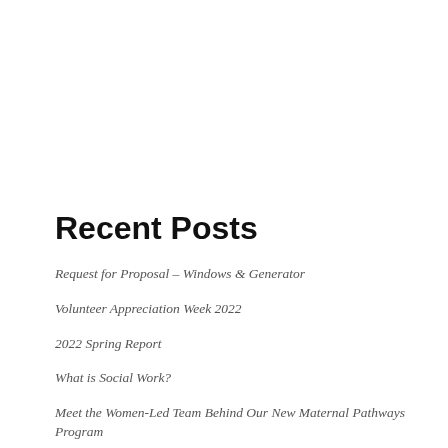Recent Posts
Request for Proposal – Windows & Generator
Volunteer Appreciation Week 2022
2022 Spring Report
What is Social Work?
Meet the Women-Led Team Behind Our New Maternal Pathways Program